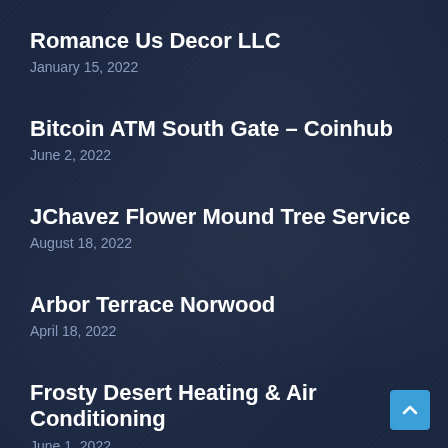Romance Us Decor LLC
January 15, 2022
Bitcoin ATM South Gate – Coinhub
June 2, 2022
JChavez Flower Mound Tree Service
August 18, 2022
Arbor Terrace Norwood
April 18, 2022
Frosty Desert Heating & Air Conditioning
June 1, 2022